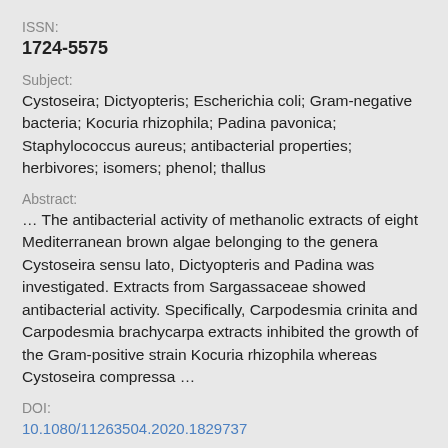ISSN:
1724-5575
Subject:
Cystoseira; Dictyopteris; Escherichia coli; Gram-negative bacteria; Kocuria rhizophila; Padina pavonica; Staphylococcus aureus; antibacterial properties; herbivores; isomers; phenol; thallus
Abstract:
… The antibacterial activity of methanolic extracts of eight Mediterranean brown algae belonging to the genera Cystoseira sensu lato, Dictyopteris and Padina was investigated. Extracts from Sargassaceae showed antibacterial activity. Specifically, Carpodesmia crinita and Carpodesmia brachycarpa extracts inhibited the growth of the Gram-positive strain Kocuria rhizophila whereas Cystoseira compressa …
DOI:
10.1080/11263504.2020.1829737